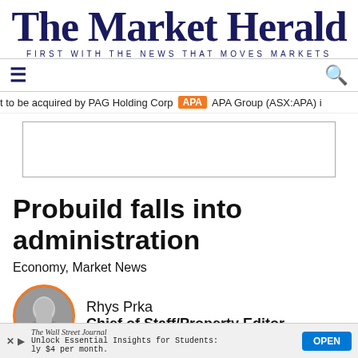The Market Herald
FIRST WITH THE NEWS THAT MOVES MARKETS
t to be acquired by PAG Holding Corp  APA  APA Group (ASX:APA) i
[Figure (other): Empty advertisement box with border]
Probuild falls into administration
Economy, Market News
Rhys Prka
Chief of Staff/Property Editor
The Wall Street Journal
Unlock Essential Insights for Students:
Only $4 per month.